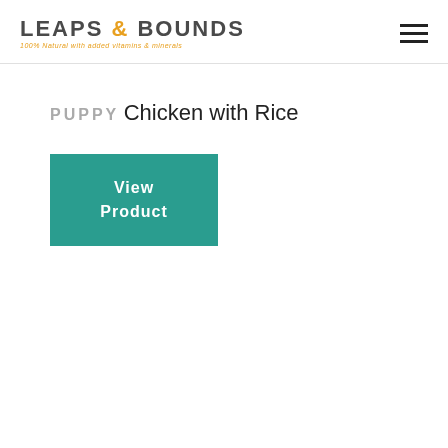LEAPS & BOUNDS 100% Natural with added vitamins & minerals
PUPPY
Chicken with Rice
View Product